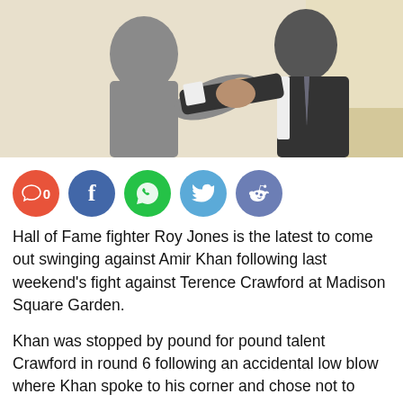[Figure (photo): Two people shaking hands, one wearing a grey outfit and the other in a dark suit with white shirt and tie, indoor setting with light background]
[Figure (infographic): Social media share buttons row: comment button showing 0, Facebook, WhatsApp, Twitter, Reddit]
Hall of Fame fighter Roy Jones is the latest to come out swinging against Amir Khan following last weekend's fight against Terence Crawford at Madison Square Garden.
Khan was stopped by pound for pound talent Crawford in round 6 following an accidental low blow where Khan spoke to his corner and chose not to continue due to the pain incurred.
Following the fight Khan even mentioned that he thought the fight was turning in his favor near the time of stoppage but he has faced an avalanche of criticism in the wake of last weekend's bout in the Big Apple.
Roy Jones Jr knows plenty about taking on the best and being